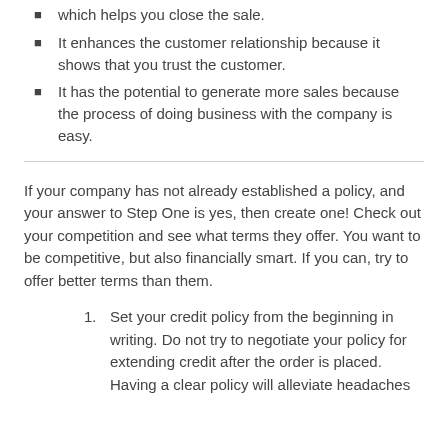which helps you close the sale.
It enhances the customer relationship because it shows that you trust the customer.
It has the potential to generate more sales because the process of doing business with the company is easy.
If your company has not already established a policy, and your answer to Step One is yes, then create one! Check out your competition and see what terms they offer. You want to be competitive, but also financially smart. If you can, try to offer better terms than them.
Set your credit policy from the beginning in writing. Do not try to negotiate your policy for extending credit after the order is placed. Having a clear policy will alleviate headaches